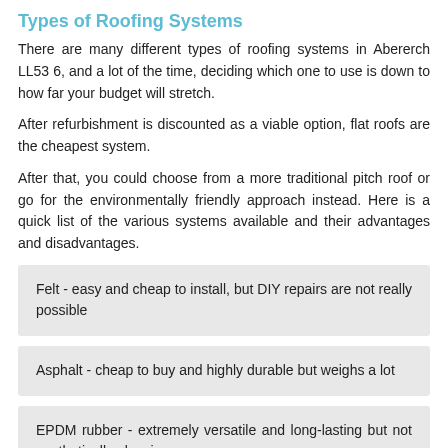Types of Roofing Systems
There are many different types of roofing systems in Abererch LL53 6, and a lot of the time, deciding which one to use is down to how far your budget will stretch.
After refurbishment is discounted as a viable option, flat roofs are the cheapest system.
After that, you could choose from a more traditional pitch roof or go for the environmentally friendly approach instead. Here is a quick list of the various systems available and their advantages and disadvantages.
Felt - easy and cheap to install, but DIY repairs are not really possible
Asphalt - cheap to buy and highly durable but weighs a lot
EPDM rubber - extremely versatile and long-lasting but not aesthetically pleasing